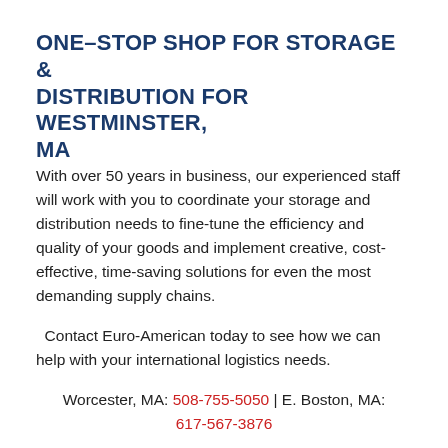ONE–STOP SHOP FOR STORAGE & DISTRIBUTION FOR WESTMINSTER, MA
With over 50 years in business, our experienced staff will work with you to coordinate your storage and distribution needs to fine-tune the efficiency and quality of your goods and implement creative, cost-effective, time-saving solutions for even the most demanding supply chains.
Contact Euro-American today to see how we can help with your international logistics needs.
Worcester, MA: 508-755-5050 | E. Boston, MA: 617-567-3876